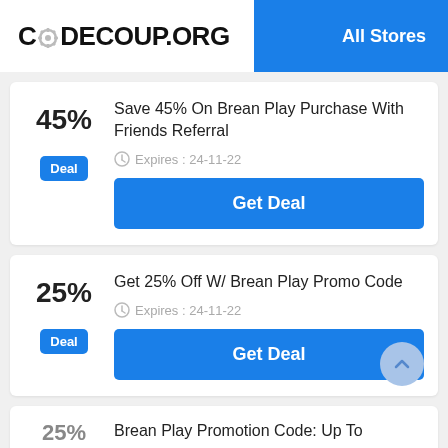CODECOUP.ORG  All Stores
45%
Deal
Save 45% On Brean Play Purchase With Friends Referral
Expires : 24-11-22
Get Deal
25%
Deal
Get 25% Off W/ Brean Play Promo Code
Expires : 24-11-22
Get Deal
Brean Play Promotion Code: Up To